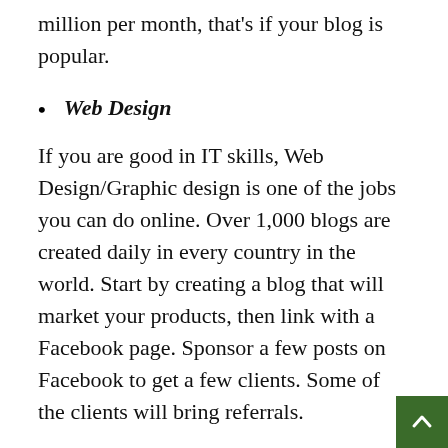million per month, that's if your blog is popular.
Web Design
If you are good in IT skills, Web Design/Graphic design is one of the jobs you can do online. Over 1,000 blogs are created daily in every country in the world. Start by creating a blog that will market your products, then link with a Facebook page. Sponsor a few posts on Facebook to get a few clients. Some of the clients will bring referrals.
You will charge a client upward of $200 to